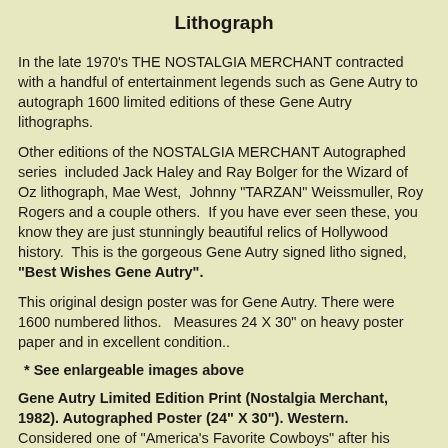Lithograph
In the late 1970's THE NOSTALGIA MERCHANT contracted with a handful of entertainment legends such as Gene Autry to autograph 1600 limited editions of these Gene Autry lithographs.
Other editions of the NOSTALGIA MERCHANT Autographed series included Jack Haley and Ray Bolger for the Wizard of Oz lithograph, Mae West, Johnny "TARZAN" Weissmuller, Roy Rogers and a couple others. If you have ever seen these, you know they are just stunningly beautiful relics of Hollywood history. This is the gorgeous Gene Autry signed litho signed, "Best Wishes Gene Autry".
This original design poster was for Gene Autry. There were 1600 numbered lithos. Measures 24 X 30" on heavy poster paper and in excellent condition..
* See enlargeable images above
Gene Autry Limited Edition Print (Nostalgia Merchant, 1982). Autographed Poster (24" X 30"). Western.
Considered one of "America's Favorite Cowboys" after his starring roles in films such as Tumbling Tumbleweeds (Republic, 1935) and Carolina Moon (Republic, 1940). Gene Autry was also a well...